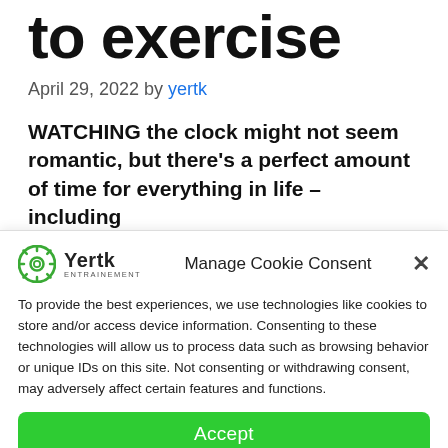to exercise
April 29, 2022 by yertk
WATCHING the clock might not seem romantic, but there's a perfect amount of time for everything in life – including
[Figure (logo): Yertk logo — green gear icon with 'Yertk' wordmark and 'ENTRAINEMENT' subtext]
Manage Cookie Consent
To provide the best experiences, we use technologies like cookies to store and/or access device information. Consenting to these technologies will allow us to process data such as browsing behavior or unique IDs on this site. Not consenting or withdrawing consent, may adversely affect certain features and functions.
Accept